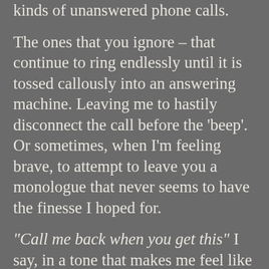I've come to realise there are two kinds of unanswered phone calls.
The ones that you ignore – that continue to ring endlessly until it is tossed callously into an answering machine. Leaving me to hastily disconnect the call before the 'beep'. Or sometimes, when I'm feeling brave, to attempt to leave you a monologue that never seems to have the finesse I hoped for.
“Call me back when you get this” I say, in a tone that makes me feel like a receptionist, or a saleswoman – professional, indifferent,